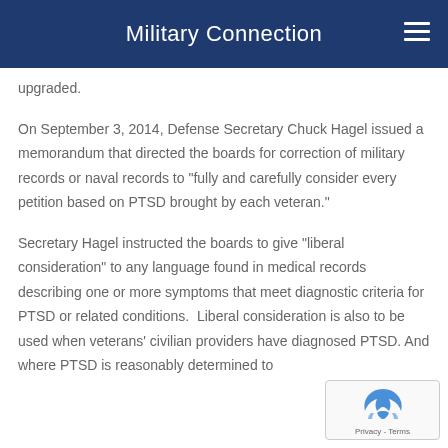Military Connection
upgraded.
On September 3, 2014, Defense Secretary Chuck Hagel issued a memorandum that directed the boards for correction of military records or naval records to "fully and carefully consider every petition based on PTSD brought by each veteran."
Secretary Hagel instructed the boards to give "liberal consideration" to any language found in medical records describing one or more symptoms that meet diagnostic criteria for PTSD or related conditions.  Liberal consideration is also to be used when veterans' civilian providers have diagnosed PTSD. And where PTSD is reasonably determined to